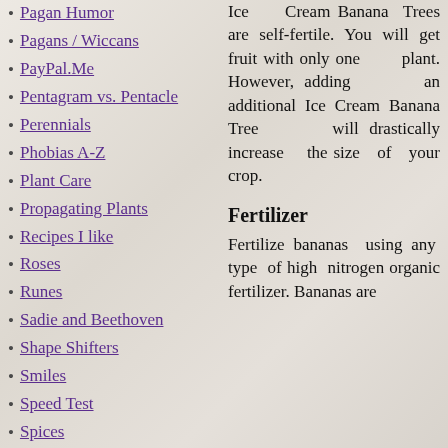Pagan Humor
Pagans / Wiccans
PayPal.Me
Pentagram vs. Pentacle
Perennials
Phobias A-Z
Plant Care
Propagating Plants
Recipes I like
Roses
Runes
Sadie and Beethoven
Shape Shifters
Smiles
Speed Test
Spices
Spices I Have
Spiritual Gifts
Steel Toe vs. Comp. Toe
Ice Cream Banana Trees are self-fertile. You will get fruit with only one plant. However, adding an additional Ice Cream Banana Tree will drastically increase the size of your crop.
Fertilizer
Fertilize bananas using any type of high nitrogen organic fertilizer. Bananas are...